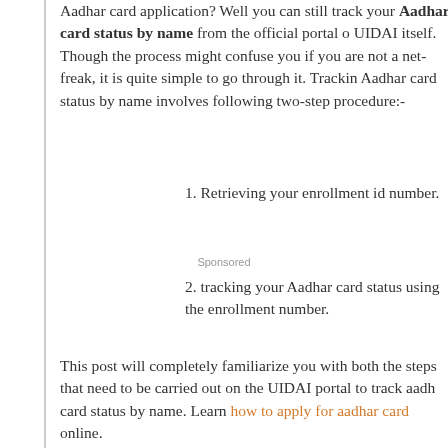Aadhar card application? Well you can still track your Aadhar card status by name from the official portal of UIDAI itself. Though the process might confuse you if you are not a net-freak, it is quite simple to go through it. Tracking Aadhar card status by name involves following two-step procedure:-
1. Retrieving your enrollment id number.
Sponsored
2. tracking your Aadhar card status using the enrollment number.
This post will completely familiarize you with both the steps that need to be carried out on the UIDAI portal to track aadhar card status by name. Learn how to apply for aadhar card online.